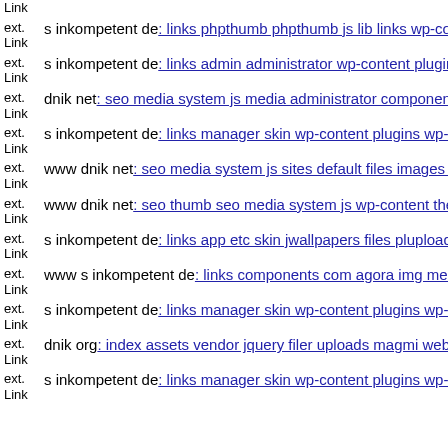ext. Link s inkompetent de: links phpthumb phpthumb js lib links wp-co...
ext. Link s inkompetent de: links admin administrator wp-content plugin...
ext. Link dnik net: seo media system js media administrator components...
ext. Link s inkompetent de: links manager skin wp-content plugins wp-fi...
ext. Link www dnik net: seo media system js sites default files images st...
ext. Link www dnik net: seo thumb seo media system js wp-content them...
ext. Link s inkompetent de: links app etc skin jwallpapers files plupload...
ext. Link www s inkompetent de: links components com agora img mem...
ext. Link s inkompetent de: links manager skin wp-content plugins wp-fi...
ext. Link dnik org: index assets vendor jquery filer uploads magmi web h...
ext. Link s inkompetent de: links manager skin wp-content plugins wp-fi...